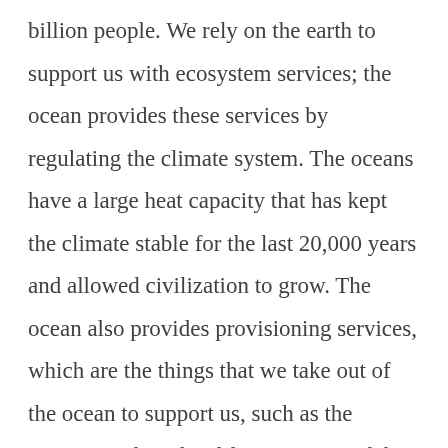billion people. We rely on the earth to support us with ecosystem services; the ocean provides these services by regulating the climate system. The oceans have a large heat capacity that has kept the climate stable for the last 20,000 years and allowed civilization to grow. The ocean also provides provisioning services, which are the things that we take out of the ocean to support us, such as the oxygen we breathe, fifteen percent of the food that we eat, the rain that makes agriculture possible, raw materials, and renewable energy. Cultural services such as